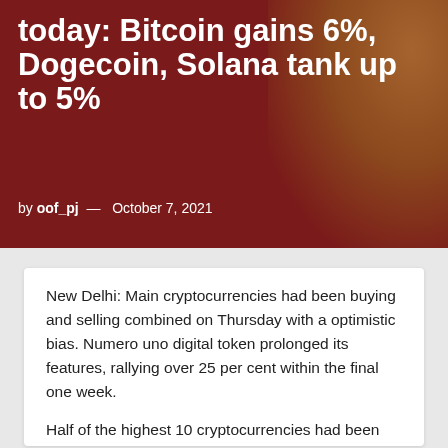today: Bitcoin gains 6%, Dogecoin, Solana tank up to 5%
by oof_pj — October 7, 2021
New Delhi: Main cryptocurrencies had been buying and selling combined on Thursday with a optimistic bias. Numero uno digital token prolonged its features, rallying over 25 per cent within the final one week.
Half of the highest 10 cryptocurrencies had been increased, whereas the identical variety of tokens had been in pink at 9.29 hours IST. Bitcoins surged over 6...